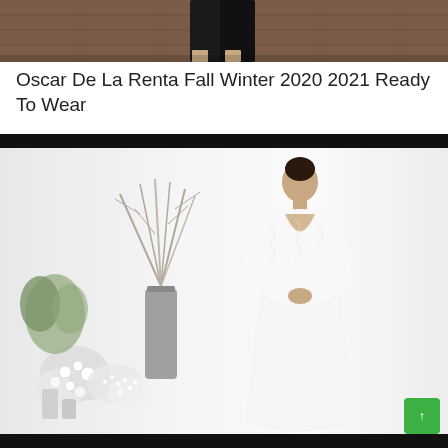[Figure (photo): Cropped fashion runway photo showing lower body of a model in a dark outfit on a wooden floor]
Oscar De La Renta Fall Winter 2020 2021 Ready To Wear
[Figure (photo): Fashion photo of a model wearing a white long-sleeved lace gown with deep V-neckline, standing against a white background with floral arrangements and dried branches]